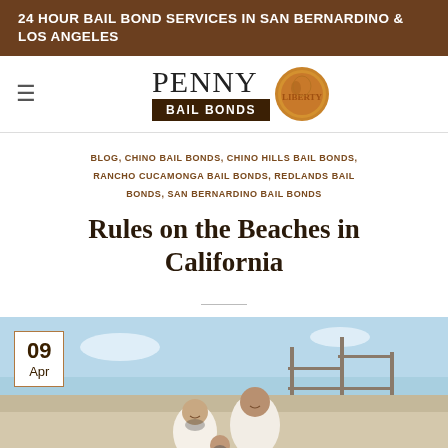24 HOUR BAIL BOND SERVICES IN SAN BERNARDINO & LOS ANGELES
[Figure (logo): Penny Bail Bonds logo with coin image]
BLOG, CHINO BAIL BONDS, CHINO HILLS BAIL BONDS, RANCHO CUCAMONGA BAIL BONDS, REDLANDS BAIL BONDS, SAN BERNARDINO BAIL BONDS
Rules on the Beaches in California
[Figure (photo): Family of three (man, woman, child) sitting on a beach with a wooden structure in the background, blue sky. Date badge shows 09 Apr.]